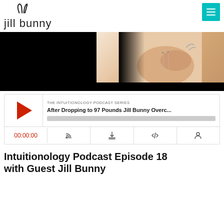jill bunny
[Figure (photo): Hero image with black section on left and photo of a person on the right, black bar at bottom]
[Figure (screenshot): Podcast player widget showing 'THE INTUITIONOLOGY PODCAST SERIES' with title 'After Dropping to 97 Pounds Jill Bunny Overc...' with play button, progress bar, time 00:00:00 and controls for RSS, download, embed, and subscribe]
Intuitionology Podcast Episode 18 with Guest Jill Bunny